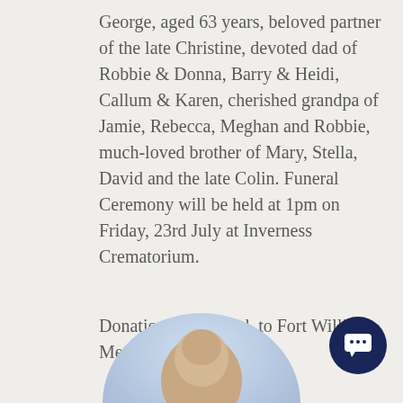George, aged 63 years, beloved partner of the late Christine, devoted dad of Robbie & Donna, Barry & Heidi, Callum & Karen, cherished grandpa of Jamie, Rebecca, Meghan and Robbie, much-loved brother of Mary, Stella, David and the late Colin. Funeral Ceremony will be held at 1pm on Friday, 23rd July at Inverness Crematorium.
Donations, if desired, to Fort William Men's Shed-click here
[Figure (photo): Circular cropped portrait photo of a person, partially visible at the bottom of the page]